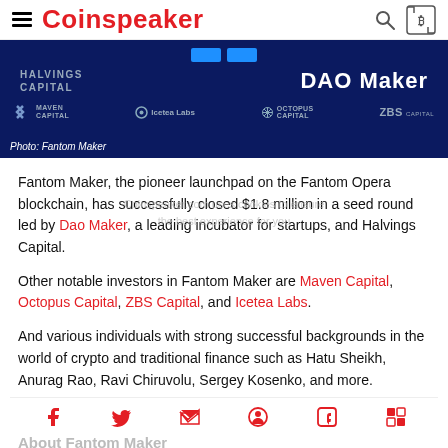Coinspeaker
[Figure (photo): Dark blue background with sponsor/investor logos: Halvings Capital, DAO Maker, Maven Capital, Icetea Labs, Octopus Capital, ZBS Capital. Caption reads: Photo: Fantom Maker]
Photo: Fantom Maker
Fantom Maker, the pioneer launchpad on the Fantom Opera blockchain, has successfully closed $1.8 million in a seed round led by Dao Maker, a leading incubator for startups, and Halvings Capital.
Other notable investors in Fantom Maker are Maven Capital, Octopus Capital, ZBS Capital, and Icetea Labs.
And various individuals with strong successful backgrounds in the world of crypto and traditional finance such as Hatu Sheikh, Anurag Rao, Ravi Chiruvolu, Sergey Kosenko, and more.
About Fantom Maker